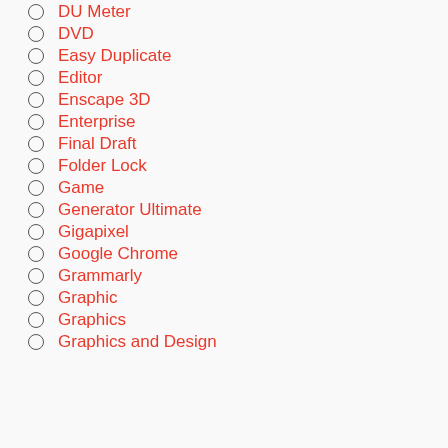DU Meter
DVD
Easy Duplicate
Editor
Enscape 3D
Enterprise
Final Draft
Folder Lock
Game
Generator Ultimate
Gigapixel
Google Chrome
Grammarly
Graphic
Graphics
Graphics and Design